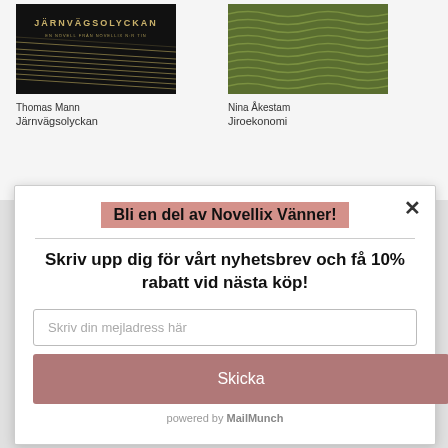[Figure (screenshot): Book cover for Järnvägsolyckan by Thomas Mann, dark background with gold lines]
Thomas Mann
Järnvägsolyckan
[Figure (screenshot): Book cover for Jiroekonomi by Nina Åkestam, green textured pattern]
Nina Åkestam
Jiroekonomi
Bli en del av Novellix Vänner!
Skriv upp dig för vårt nyhetsbrev och få 10% rabatt vid nästa köp!
Skriv din mejladress här
Skicka
powered by MailMunch